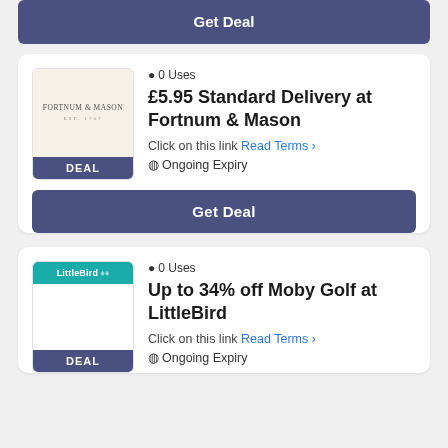[Figure (other): Get Deal button (top, partially visible)]
[Figure (logo): Fortnum & Mason logo with DEAL label]
0 Uses
£5.95 Standard Delivery at Fortnum & Mason
Click on this link Read Terms > Ongoing Expiry
Get Deal
[Figure (logo): LittleBird logo with DEAL label]
0 Uses
Up to 34% off Moby Golf at LittleBird
Click on this link Read Terms > Ongoing Expiry